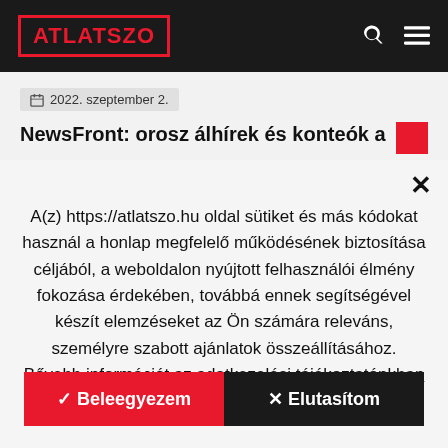ATLATSZO
2022. szeptember 2.
NewsFront: orosz álhírek és konteók a
A(z) https://atlatszo.hu oldal sütiket és más kódokat használ a honlap megfelelő működésének biztosítása céljából, a weboldalon nyújtott felhasználói élmény fokozása érdekében, továbbá ennek segítségével készít elemzéseket az Ön számára releváns, személyre szabott ajánlatok összeállításához. Bővebb információt az adatkezelési tájékoztatónkban talál.
✔ Beleegyezem
✕ Elutasítom